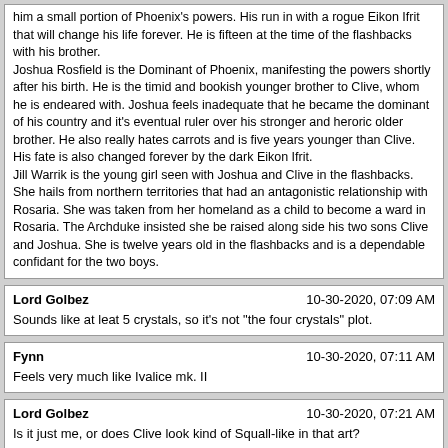him a small portion of Phoenix's powers. His run in with a rogue Eikon Ifrit that will change his life forever. He is fifteen at the time of the flashbacks with his brother.
Joshua Rosfield is the Dominant of Phoenix, manifesting the powers shortly after his birth. He is the timid and bookish younger brother to Clive, whom he is endeared with. Joshua feels inadequate that he became the dominant of his country and it's eventual ruler over his stronger and heroric older brother. He also really hates carrots and is five years younger than Clive. His fate is also changed forever by the dark Eikon Ifrit.
Jill Warrik is the young girl seen with Joshua and Clive in the flashbacks. She hails from northern territories that had an antagonistic relationship with Rosaria. She was taken from her homeland as a child to become a ward in Rosaria. The Archduke insisted she be raised along side his two sons Clive and Joshua. She is twelve years old in the flashbacks and is a dependable confidant for the two boys.
Lord Golbez
10-30-2020, 07:09 AM
Sounds like at leat 5 crystals, so it's not "the four crystals" plot.
Fynn
10-30-2020, 07:11 AM
Feels very much like Ivalice mk. II
Lord Golbez
10-30-2020, 07:21 AM
Is it just me, or does Clive look kind of Squall-like in that art?
Wolf Kanno
10-30-2020, 07:25 AM
77378